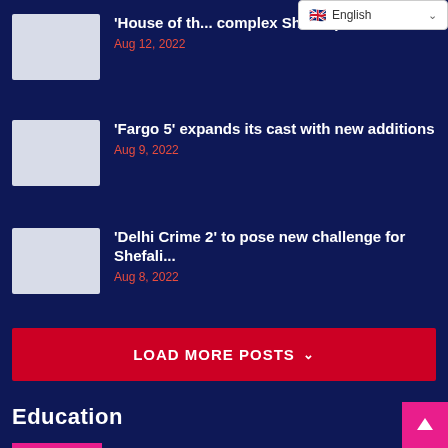[Figure (screenshot): Language selector dropdown showing English with UK flag icon]
'House of th... complex Shakespearean...
Aug 12, 2022
'Fargo 5' expands its cast with new additions
Aug 9, 2022
'Delhi Crime 2' to pose new challenge for Shefali...
Aug 8, 2022
LOAD MORE POSTS
Education